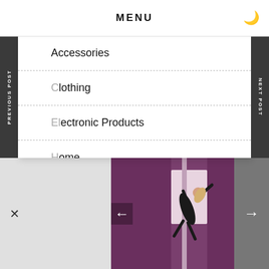MENU
Accessories
Clothing
Electronic Products
Home
Home Appliances
PREVIOUS POST
NEXT POST
[Figure (photo): Pole dancer in black outfit performing on a pole against a purple/pink background]
Buy Pole Clothes Online